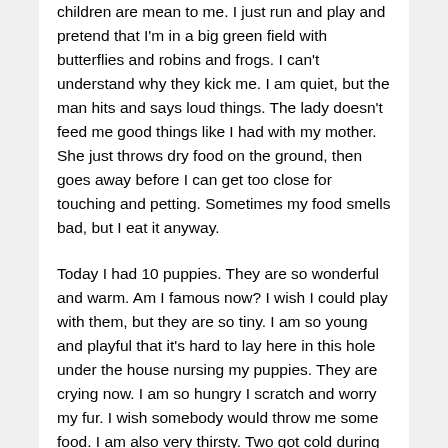children are mean to me. I just run and play and pretend that I'm in a big green field with butterflies and robins and frogs. I can't understand why they kick me. I am quiet, but the man hits and says loud things. The lady doesn't feed me good things like I had with my mother. She just throws dry food on the ground, then goes away before I can get too close for touching and petting. Sometimes my food smells bad, but I eat it anyway.
Today I had 10 puppies. They are so wonderful and warm. Am I famous now? I wish I could play with them, but they are so tiny. I am so young and playful that it's hard to lay here in this hole under the house nursing my puppies. They are crying now. I am so hungry I scratch and worry my fur. I wish somebody would throw me some food. I am also very thirsty. Two got cold during the night and I couldn't make them warm again. They are gone. We all are very weak. Maybe if I take them out on the porch, we can get some food.
Today they took us away. It was too much trouble to feed